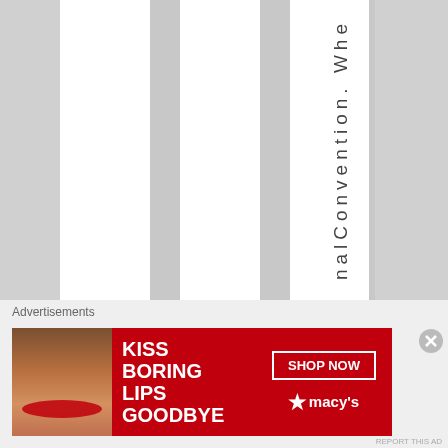[Figure (screenshot): A webpage screenshot showing vertical text reading 'nalConvention. Whe' arranged letter by letter top-to-bottom in a column, with alternating white and gray vertical column stripes in the background.]
Advertisements
[Figure (photo): Advertisement banner with red background showing 'KISS BORING LIPS GOODBYE' text in white bold font, a woman's face with red lips, a 'SHOP NOW' button outlined in white, and the Macy's star logo in white.]